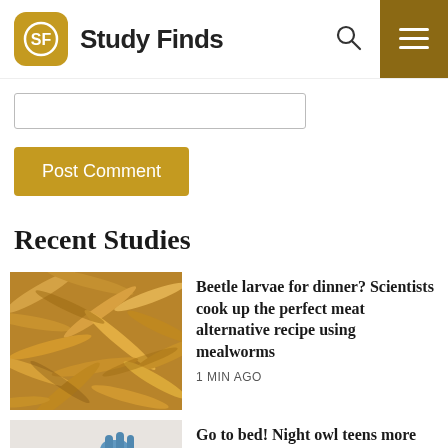Study Finds
Post Comment
Recent Studies
[Figure (photo): Close-up photograph of mealworms (beetle larvae), golden-brown in color, densely packed together]
Beetle larvae for dinner? Scientists cook up the perfect meat alternative recipe using mealworms
1 MIN AGO
[Figure (photo): Photo of a sleeping baby with a gloved hand nearby, partially faded/overlaid]
Go to bed! Night owl teens more likely to become obese
2 HOURS AGO